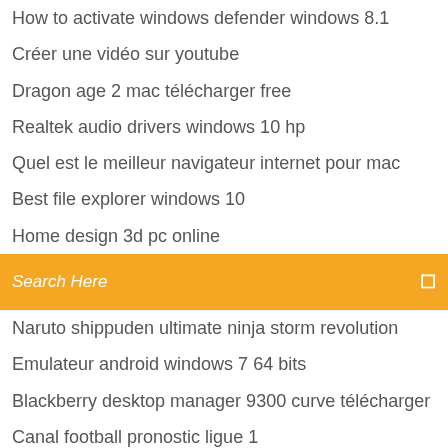How to activate windows defender windows 8.1
Créer une vidéo sur youtube
Dragon age 2 mac télécharger free
Realtek audio drivers windows 10 hp
Quel est le meilleur navigateur internet pour mac
Best file explorer windows 10
Home design 3d pc online
Search Here
Naruto shippuden ultimate ninja storm revolution
Emulateur android windows 7 64 bits
Blackberry desktop manager 9300 curve télécharger
Canal football pronostic ligue 1
Obtenir de largent gta 5
Alien vs predator jeux de plateau
Logiciel pour connaitre qui pirate mon wifi
Mac os x 11 iso
Minecraft gratuit sur pc windows 7
Transférer un fichier volumineux gratuitement